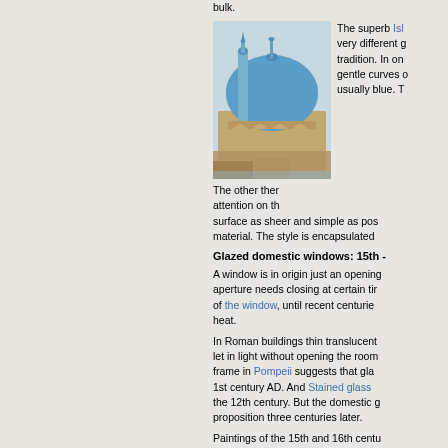bulk.
[Figure (photo): Photo of an Islamic mosque with blue dome and minaret]
The superb Isl very different g tradition. In on gentle curves usually blue. T
The other ther attention on th surface as sheer and simple as pos material. The style is encapsulated
Glazed domestic windows: 15th -
A window is in origin just an opening aperture needs closing at certain ti of the window, until recent centurie heat.
In Roman buildings thin translucent let in light without opening the room frame in Pompeii suggests that gla 1st century AD. And Stained glass the 12th century. But the domestic g proposition three centuries later.
Paintings of the 15th and 16th centu nothing but wooden shutters to hing shutters are divided into two or thre the balance between light and air; p left open, depending on the weathe